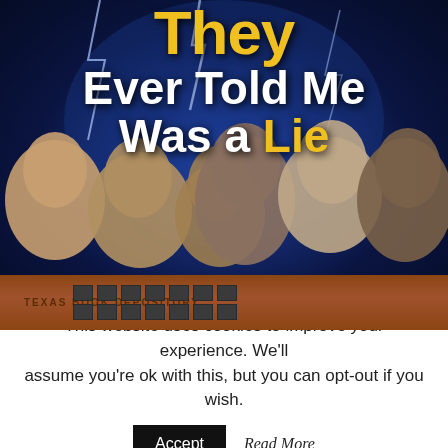[Figure (illustration): Book cover showing the partial title 'They Ever Told Me Was a Lie' in white and yellow text on a dark blue background with lightning effects, featuring photographic portraits of multiple US presidents over an image of the Texas Book Depository building.]
This website uses cookies to improve your experience. We'll assume you're ok with this, but you can opt-out if you wish.
Accept  Read More